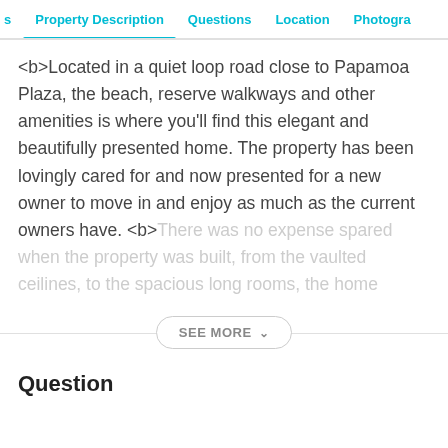s   Property Description   Questions   Location   Photogra
<b>Located in a quiet loop road close to Papamoa Plaza, the beach, reserve walkways and other amenities is where you'll find this elegant and beautifully presented home. The property has been lovingly cared for and now presented for a new owner to move in and enjoy as much as the current owners have. <b>There was no expense spared when the property was built, from the vaulted ceilines, to the spacious long rooms, the home
SEE MORE
Question